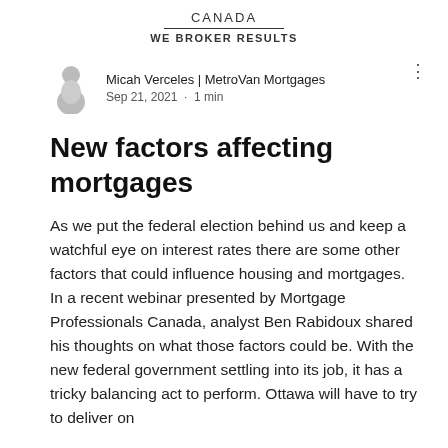CANADA
WE BROKER RESULTS
Micah Verceles | MetroVan Mortgages
Sep 21, 2021 · 1 min
New factors affecting mortgages
As we put the federal election behind us and keep a watchful eye on interest rates there are some other factors that could influence housing and mortgages. In a recent webinar presented by Mortgage Professionals Canada, analyst Ben Rabidoux shared his thoughts on what those factors could be. With the new federal government settling into its job, it has a tricky balancing act to perform. Ottawa will have to try to deliver on